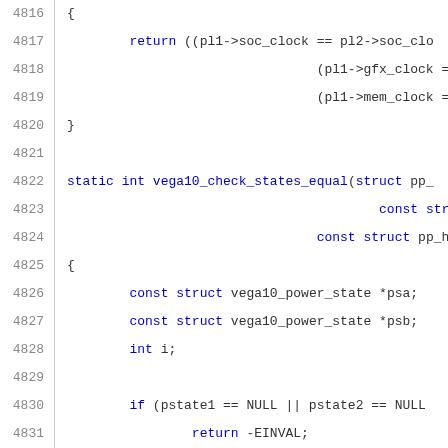[Figure (screenshot): Source code listing showing C code for vega10 power state functions, lines 4816-4837, with line numbers on the left and syntax-highlighted code on the right.]